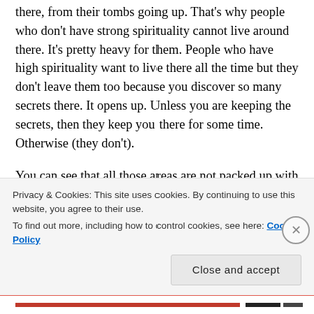there, from their tombs going up. That's why people who don't have strong spirituality cannot live around there. It's pretty heavy for them. People who have high spirituality want to live there all the time but they don't leave them too because you discover so many secrets there. It opens up. Unless you are keeping the secrets, then they keep you there for some time. Otherwise (they don't).
You can see that all those areas are not packed up with things. Everywhere is almost empty. In the villages, you see the people, you look at their faces, no arguments, just peace coming from their faces and they are always
Privacy & Cookies: This site uses cookies. By continuing to use this website, you agree to their use.
To find out more, including how to control cookies, see here: Cookie Policy
Close and accept